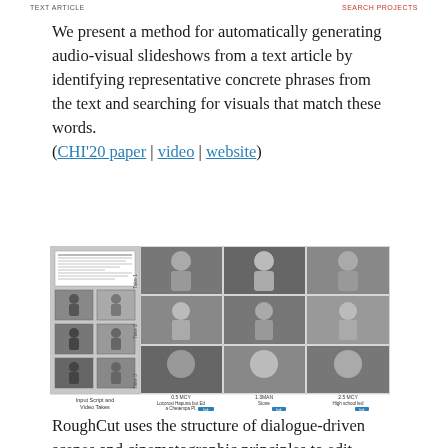TEXT ARTICLE | SEARCH PROJECTS
We present a method for automatically generating audio-visual slideshows from a text article by identifying representative concrete phrases from the text and searching for visuals that match these words. (CHI'20 paper | video | website)
[Figure (other): Diagram showing input script and video takes on the left, and a grid of video frame thumbnails organized in rows (Take 1, Take 2, Take 3) and columns, with similarity scores and labels below each column.]
RoughCut uses the structure of dialogue-driven scenes and cinematographic principles to edit videos. The input is a script and multiple video takes, capturing